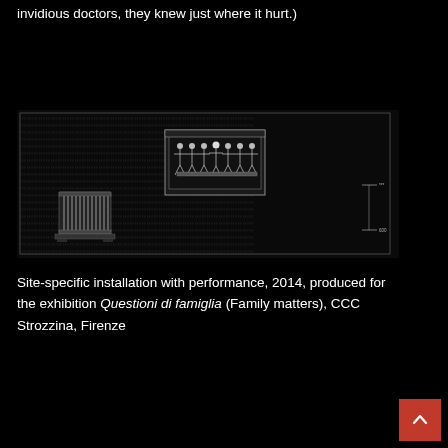invidious doctors, they knew just where it hurt.)
[Figure (engineering-diagram): Technical/architectural floor plan or installation diagram on dark background, showing a rectangular room layout with human figures arranged in a group (resembling a Last Supper tableau) in a framed panel, and a radiator object on the lower left. Scale markers visible on the right side.]
Site-specific installation with performance, 2014, produced for the exhibition Questioni di famiglia (Family matters), CCC Strozzina, Firenze